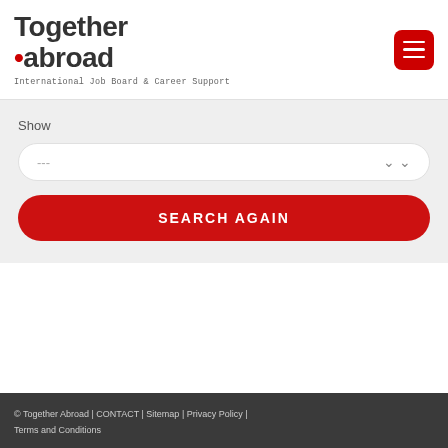Together abroad — International Job Board & Career Support
Show
---
SEARCH AGAIN
© Together Abroad | CONTACT | Sitemap | Privacy Policy | Terms and Conditions